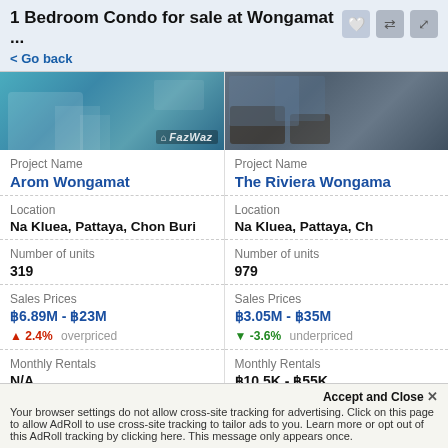1 Bedroom Condo for sale at Wongamat ...
< Go back
[Figure (photo): Photo of Arom Wongamat condo building with FazWaz watermark]
[Figure (photo): Photo of The Riviera Wongamat pool area]
| Project Name | Arom Wongamat | Project Name | The Riviera Wongama... |
| Location | Na Kluea, Pattaya, Chon Buri | Location | Na Kluea, Pattaya, Ch... |
| Number of units | 319 | Number of units | 979 |
| Sales Prices | ฿6.89M - ฿23M / ▲ 2.4% overpriced | Sales Prices | ฿3.05M - ฿35M / ▼ -3.6% underpriced |
| Monthly Rentals | N/A | Monthly Rentals | ฿10.5K - ฿55K |
Your browser settings do not allow cross-site tracking for advertising. Click on this page to allow AdRoll to use cross-site tracking to tailor ads to you. Learn more or opt out of this AdRoll tracking by clicking here. This message only appears once.